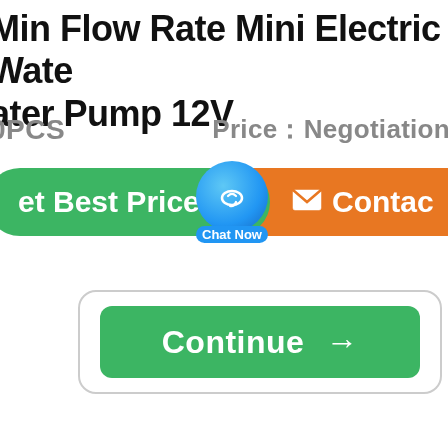Min Flow Rate Mini Electric Water Pump 12V
0PCS   Price：Negotiation
[Figure (screenshot): Green 'Get Best Price' button, blue 'Chat Now' chat bubble overlay, and orange 'Contact' button on a product listing page]
[Figure (screenshot): Green 'Continue →' button inside a rounded white card/modal]